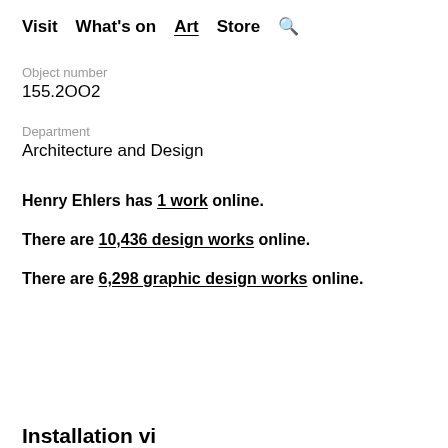Visit  What's on  Art  Store  🔍
Object number
155.2OO2
Department
Architecture and Design
Henry Ehlers has 1 work online.
There are 10,436 design works online.
There are 6,298 graphic design works online.
Installation vi…